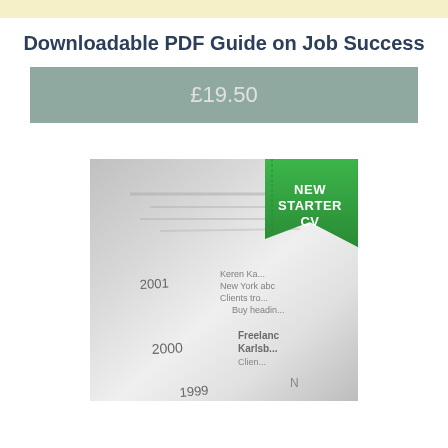Downloadable PDF Guide on Job Success
£19.50
[Figure (photo): Photo of a CV/resume document with a 'NEW STARTER CV' green badge in the top-right corner. Years 2001, 2000, 1999 visible on the document with blurred text entries.]